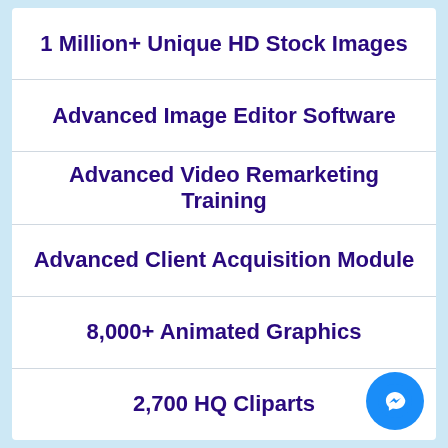1 Million+ Unique HD Stock Images
Advanced Image Editor Software
Advanced Video Remarketing Training
Advanced Client Acquisition Module
8,000+ Animated Graphics
2,700 HQ Cliparts